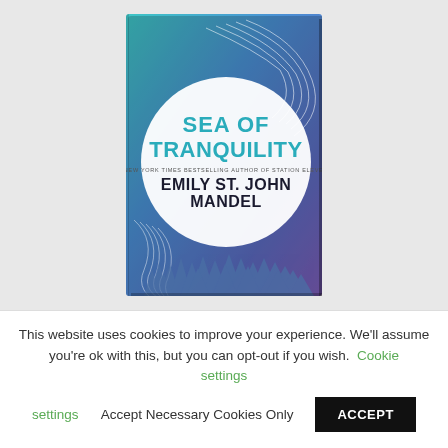[Figure (photo): Book cover of 'Sea of Tranquility' by Emily St. John Mandel. The cover features a gradient blue-to-purple background with a large white circle in the center. Inside the circle, the title 'SEA OF TRANQUILITY' is displayed in bold teal letters, with 'NEW YORK TIMES BESTSELLING AUTHOR OF STATION ELEVEN' in small text, and 'EMILY ST. JOHN MANDEL' in large dark bold letters. Swirling white lines and a silhouette of pine trees are visible on the cover.]
This website uses cookies to improve your experience. We'll assume you're ok with this, but you can opt-out if you wish. Cookie settings Accept Necessary Cookies Only ACCEPT